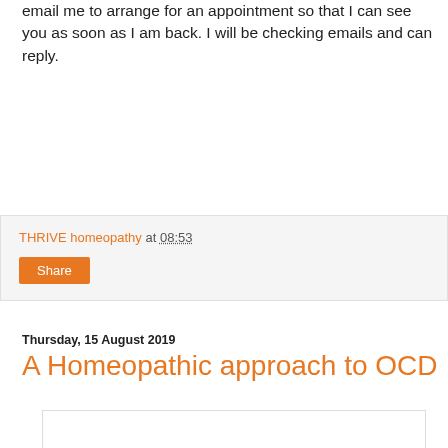email me to arrange for an appointment so that I can see you as soon as I am back. I will be checking emails and can reply.
THRIVE homeopathy at 08:53
Share
Thursday, 15 August 2019
A Homeopathic approach to OCD
[Figure (other): Word cloud related to OCD featuring words such as obsessive, compulsive, disorder, anxiety, health, stress, fear, mental, psychotic, paranoid, thoughts, psychology, obsession, worry, care, ocd, autism, illness, medication, personality, syndrome, and more in varying sizes and colors (black and red).]